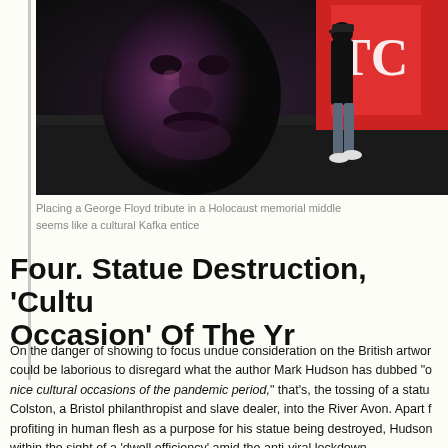[Figure (photo): A person walking past a large mural/graffiti portrait of George Floyd on a wall, with red and white graphics visible to the right.]
Placing a George Floyd tribute in a Holocaust memorial middle seems like a cultural Kafka entice
Four. Statue Destruction, 'Cultu Occasion' Of The Yr
On the danger of showing to focus undue consideration on the British artwor could be laborious to disregard what the author Mark Hudson has dubbed "o nice cultural occasions of the pandemic period," that's, the tossing of a statu Colston, a Bristol philanthropist and slave dealer, into the River Avon. Apart profiting in human flesh as a purpose for his statue being destroyed, Hudson within the sight of a 'dwell efficiency' amid the anti-viral lockdown.